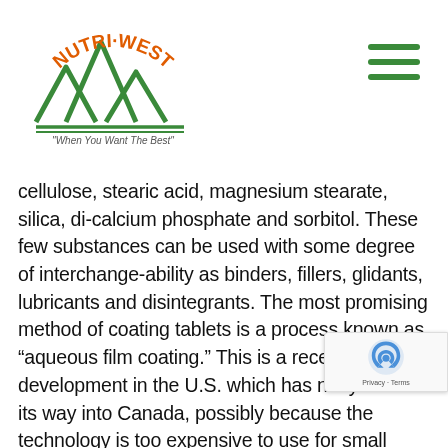[Figure (logo): Nutri-West logo with mountain peaks graphic in green and orange text reading NUTRI-WEST with tagline 'When You Want The Best']
cellulose, stearic acid, magnesium stearate, silica, di-calcium phosphate and sorbitol. These few substances can be used with some degree of interchange-ability as binders, fillers, glidants, lubricants and disintegrants. The most promising method of coating tablets is a process known as “aqueous film coating.” This is a recent development in the U.S. which has not yet found its way into Canada, possibly because the technology is too expensive to use for small production runs. Fill coating causes only a small increase in tablet weig...